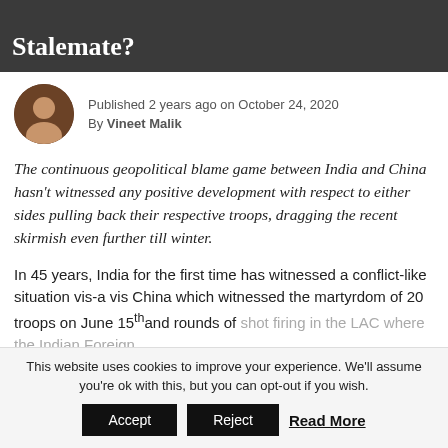Stalemate?
Published 2 years ago on October 24, 2020
By Vineet Malik
The continuous geopolitical blame game between India and China hasn’t witnessed any positive development with respect to either sides pulling back their respective troops, dragging the recent skirmish even further till winter.
In 45 years, India for the first time has witnessed a conflict-like situation vis-a vis China which witnessed the martyrdom of 20 troops on June 15th and rounds of shot firing in the LAC where the Indian Foreign
This website uses cookies to improve your experience. We’ll assume you’re ok with this, but you can opt-out if you wish.
Accept   Reject   Read More